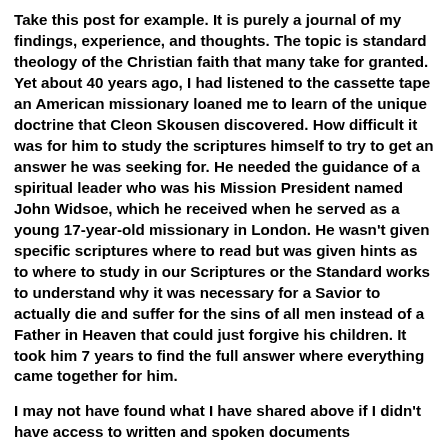Take this post for example. It is purely a journal of my findings, experience, and thoughts. The topic is standard theology of the Christian faith that many take for granted. Yet about 40 years ago, I had listened to the cassette tape an American missionary loaned me to learn of the unique doctrine that Cleon Skousen discovered. How difficult it was for him to study the scriptures himself to try to get an answer he was seeking for. He needed the guidance of a spiritual leader who was his Mission President named John Widsoe, which he received when he served as a young 17-year-old missionary in London. He wasn't given specific scriptures where to read but was given hints as to where to study in our Scriptures or the Standard works to understand why it was necessary for a Savior to actually die and suffer for the sins of all men instead of a Father in Heaven that could just forgive his children. It took him 7 years to find the full answer where everything came together for him.
I may not have found what I have shared above if I didn't have access to written and spoken documents